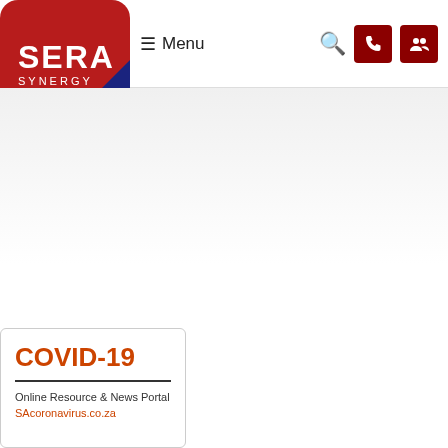SERA SYNERGY — Menu navigation bar with search and contact icons
[Figure (logo): SERA SYNERGY logo on a red card shape in the top-left corner]
COVID-19
Online Resource & News Portal
SAcoronavirus.co.za